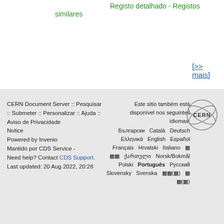Registo detalhado - Registos similares
[>> mais]
CERN Document Server :: Pesquisar :: Submeter :: Personalizar :: Ajuda :: Aviso de Privacidade
Powered by Invenio
Mantido por CDS Service -
Need help? Contact CDS Support.
Last updated: 20 Aug 2022, 20:28

Este sitio também está disponível nos seguintes idiomas:
Български  Català  Deutsch  Ελληνικά  English  Español  Français  Hrvatski  Italiano  [symbol]  [symbol][symbol]  ქართული  Norsk/Bokmål  Polski  Português  Русский  Slovensky  Svenska  [symbol][symbol]([symbol])  [symbol]  [symbol]([symbol])